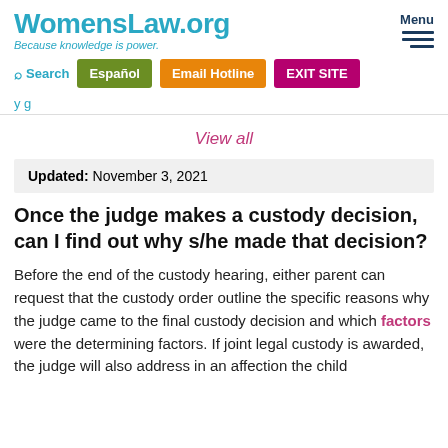WomensLaw.org — Because knowledge is power.
Search | Español | Email Hotline | EXIT SITE
View all
Updated: November 3, 2021
Once the judge makes a custody decision, can I find out why s/he made that decision?
Before the end of the custody hearing, either parent can request that the custody order outline the specific reasons why the judge came to the final custody decision and which factors were the determining factors. If joint legal custody is awarded, the judge will also address in an affection the child's...